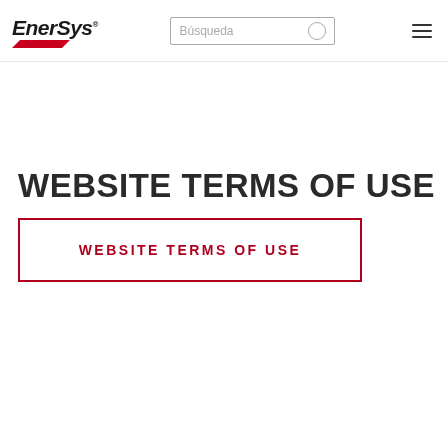EnerSys | Búsqueda | navigation menu
WEBSITE TERMS OF USE
WEBSITE TERMS OF USE